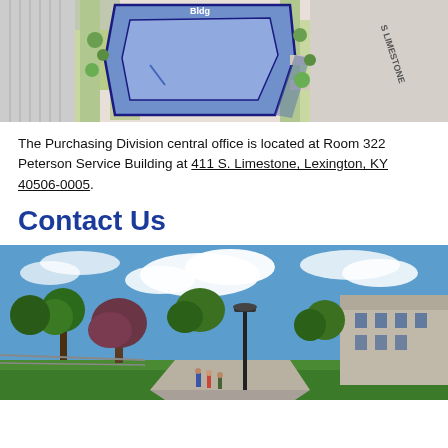[Figure (map): Campus map showing Peterson Service Building highlighted in blue at 411 S. Limestone, Lexington KY. S Limestone road visible on right side.]
The Purchasing Division central office is located at Room 322 Peterson Service Building at 411 S. Limestone, Lexington, KY 40506-0005.
Contact Us
[Figure (photo): Outdoor campus photo showing a tree-lined pedestrian walkway with a lamp post, blue sky with clouds, green trees, and a brick building on the right. Several people walking in the distance.]